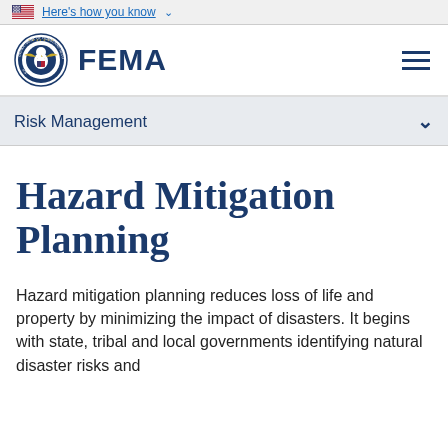Here's how you know
[Figure (logo): FEMA logo with DHS seal and FEMA wordmark]
Risk Management
Hazard Mitigation Planning
Hazard mitigation planning reduces loss of life and property by minimizing the impact of disasters. It begins with state, tribal and local governments identifying natural disaster risks and